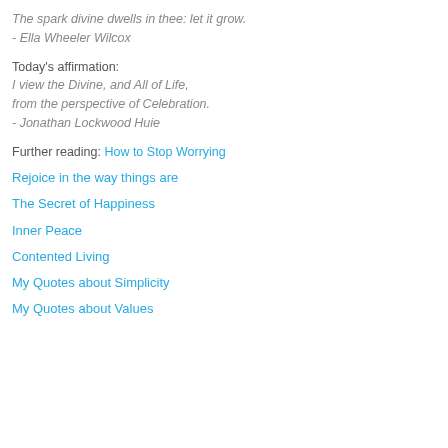The spark divine dwells in thee: let it grow.
- Ella Wheeler Wilcox
Today's affirmation:
I view the Divine, and All of Life,
from the perspective of Celebration.
- Jonathan Lockwood Huie
Further reading: How to Stop Worrying
Rejoice in the way things are
The Secret of Happiness
Inner Peace
Contented Living
My Quotes about Simplicity
My Quotes about Values